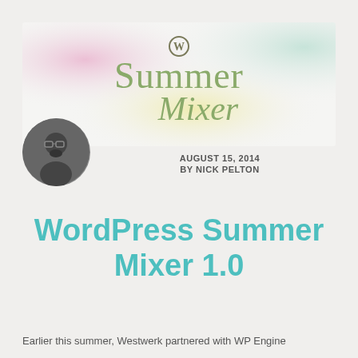[Figure (illustration): Summer Mixer banner with soft pastel gradient background (pink, yellow, green, teal) featuring WordPress logo and decorative script text 'Summer Mixer']
[Figure (photo): Black and white circular portrait photo of a bearded man wearing glasses]
AUGUST 15, 2014
BY NICK PELTON
WordPress Summer Mixer 1.0
Earlier this summer, Westwerk partnered with WP Engine